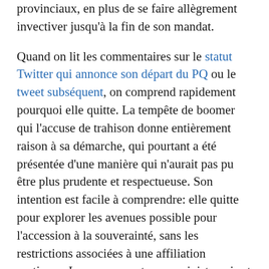provinciaux, en plus de se faire allègrement invectiver jusqu'à la fin de son mandat.
Quand on lit les commentaires sur le statut Twitter qui annonce son départ du PQ ou le tweet subséquent, on comprend rapidement pourquoi elle quitte. La tempête de boomer qui l'accuse de trahison donne entièrement raison à sa démarche, qui pourtant a été présentée d'une manière qui n'aurait pas pu être plus prudente et respectueuse. Son intention est facile à comprendre: elle quitte pour explorer les avenues possible pour l'accession à la souverainté, sans les restrictions associées à une affiliation partisane. Le mouvement souverainiste qui est bien connu pour la décapitation sommaire de ses chefs et des luttes de pouvoir internes qui semblent franchement